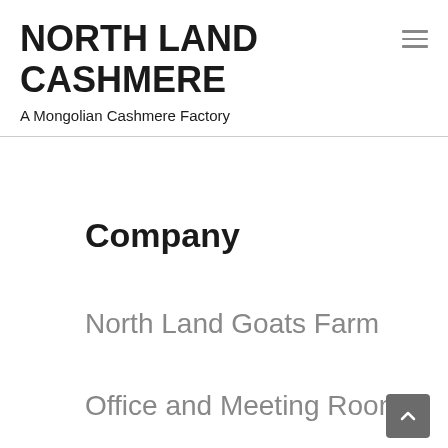NORTH LAND CASHMERE
A Mongolian Cashmere Factory
Company
North Land Goats Farm
Office and Meeting Room